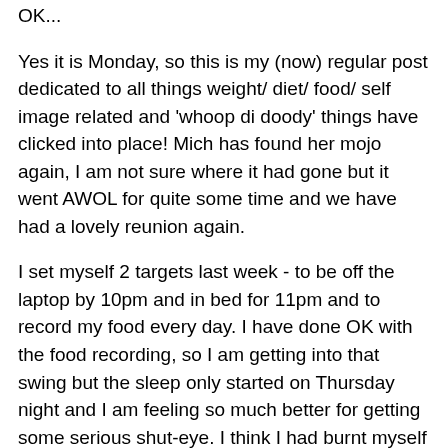OK...
Yes it is Monday, so this is my (now) regular post dedicated to all things weight/ diet/ food/ self image related and 'whoop di doody' things have clicked into place!  Mich has found her mojo again, I am not sure where it had gone but it went AWOL for quite some time and we have had a lovely reunion again.
I set myself 2 targets last week - to be off the laptop by 10pm and in bed for 11pm and to record my food every day. I have done OK with the food recording, so I am getting into that swing but the sleep only started on Thursday night and I am feeling so much better for getting some serious shut-eye.  I think I had burnt myself practically out with all this staying up late.
I have also remembered to take my multi-vits and glucosamine tablets every day, which probably helps. Then Friday night I went out for a meal with a good friend and decided not to bother with the wine or the dessert and yesterday I woke up feeling completely motivated and this